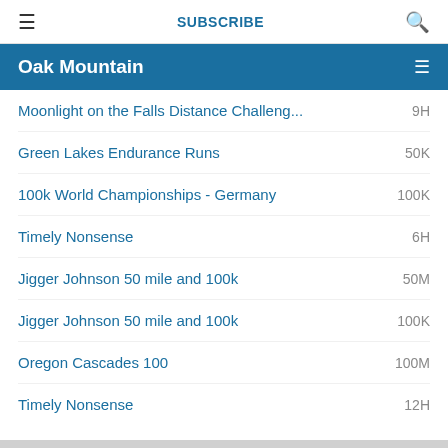≡  SUBSCRIBE  🔍
Oak Mountain
Moonlight on the Falls Distance Challeng... | 9H
Green Lakes Endurance Runs | 50K
100k World Championships - Germany | 100K
Timely Nonsense | 6H
Jigger Johnson 50 mile and 100k | 50M
Jigger Johnson 50 mile and 100k | 100K
Oregon Cascades 100 | 100M
Timely Nonsense | 12H